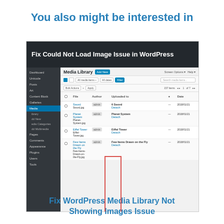You also might be interested in
[Figure (screenshot): Screenshot of WordPress Media Library admin page showing 'Fix Could Not Load Image Issue in WordPress' as an overlay heading. The screenshot shows the WordPress admin sidebar with items like Dashboard, Media, Pages, etc., and the main Media Library view with a list of media files including 'Sword', 'Planet System', 'Eiffel Tower', and 'Few Items Drawn on the Fly'. A red rectangle highlights the File thumbnail column.]
Fix WordPress Media Library Not Showing Images Issue